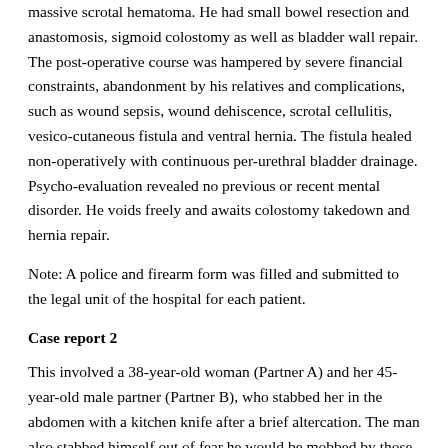massive scrotal hematoma. He had small bowel resection and anastomosis, sigmoid colostomy as well as bladder wall repair. The post-operative course was hampered by severe financial constraints, abandonment by his relatives and complications, such as wound sepsis, wound dehiscence, scrotal cellulitis, vesico-cutaneous fistula and ventral hernia. The fistula healed non-operatively with continuous per-urethral bladder drainage. Psycho-evaluation revealed no previous or recent mental disorder. He voids freely and awaits colostomy takedown and hernia repair.
Note: A police and firearm form was filled and submitted to the legal unit of the hospital for each patient.
Case report 2
This involved a 38-year-old woman (Partner A) and her 45-year-old male partner (Partner B), who stabbed her in the abdomen with a kitchen knife after a brief altercation. The man also stabbed himself out of fear he would be mobbed by those present.
Partner A
Partner A sustained a wound on the right side of her navel associated with pain